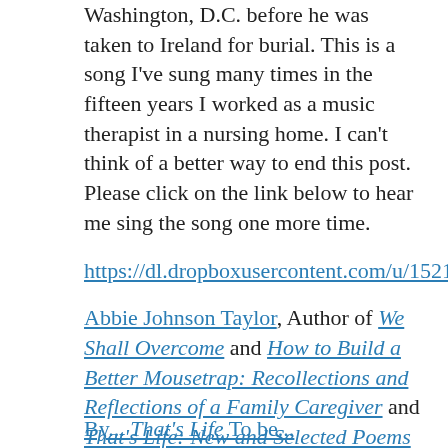Washington, D.C. before he was taken to Ireland for burial. This is a song I've sung many times in the fifteen years I worked as a music therapist in a nursing home. I can't think of a better way to end this post. Please click on the link below to hear me sing the song one more time.
https://dl.dropboxusercontent.com/u/15213189/danny%20boy.mp3
Abbie Johnson Taylor, Author of We Shall Overcome and How to Build a Better Mousetrap: Recollections and Reflections of a Family Caregiver and That's Life: New and Selected Poems
By... That's Life To be...